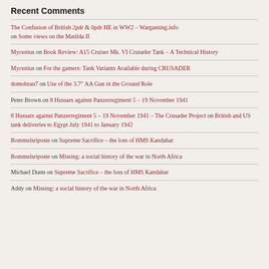Recent Comments
The Confusion of British 2pdr & 6pdr HE in WW2 – Wargaming.info on Some views on the Matilda II
Mycenius on Book Review: A15 Cruiser Mk. VI Crusader Tank – A Technical History
Mycenius on For the gamers: Tank Variants Available during CRUSADER
domobran7 on Use of the 3.7″ AA Gun in the Ground Role
Peter Brown on 8 Hussars against Panzerregiment 5 – 19 November 1941
8 Hussars against Panzerregiment 5 – 19 November 1941 – The Crusader Project on British and US tank deliveries to Egypt July 1941 to January 1942
Rommelsriposte on Supreme Sacrifice – the loss of HMS Kandahar
Rommelsriposte on Missing: a social history of the war in North Africa
Michael Dunn on Supreme Sacrifice – the loss of HMS Kandahar
Addy on Missing: a social history of the war in North Africa